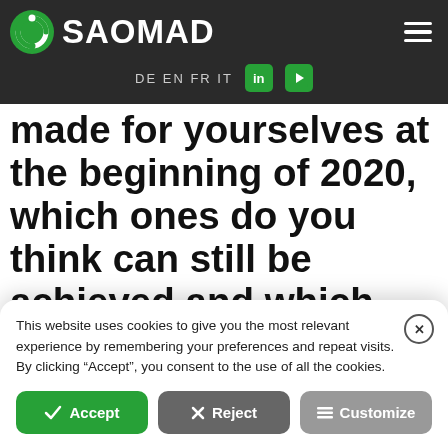SAOMAD — DE EN FR IT navigation header
made for yourselves at the beginning of 2020, which ones do you think can still be achieved and which ones should be seen in a
This website uses cookies to give you the most relevant experience by remembering your preferences and repeat visits. By clicking "Accept", you consent to the use of all the cookies.